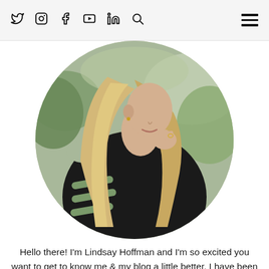Twitter Instagram Facebook YouTube LinkedIn Search | Menu
[Figure (photo): Circular cropped photo of a blonde woman wearing a black cold-shoulder cutout sweater, posing with her hand near her chin against an outdoor background with greenery.]
Hello there! I'm Lindsay Hoffman and I'm so excited you want to get to know me & my blog a little better. I have been an entertainment journalist & on camera personality for over seven years working for outlets such as: InTouch, Us Weekly, Life & Style, Closer Weekly and more! I also am an entrepreneur where I own my own business producing events where, you guessed it, I help others dreams come